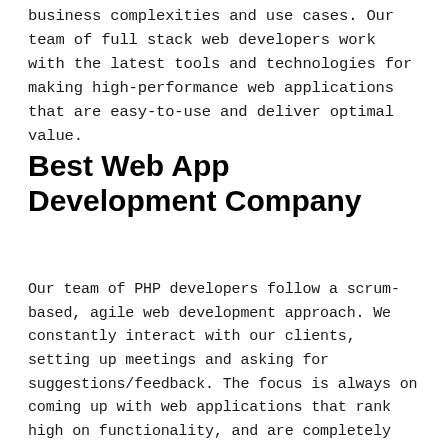business complexities and use cases. Our team of full stack web developers work with the latest tools and technologies for making high-performance web applications that are easy-to-use and deliver optimal value.
Best Web App Development Company
Our team of PHP developers follow a scrum-based, agile web development approach. We constantly interact with our clients, setting up meetings and asking for suggestions/feedback. The focus is always on coming up with web applications that rank high on functionality, and are completely bug-free. Our web app development company has also won several awards.